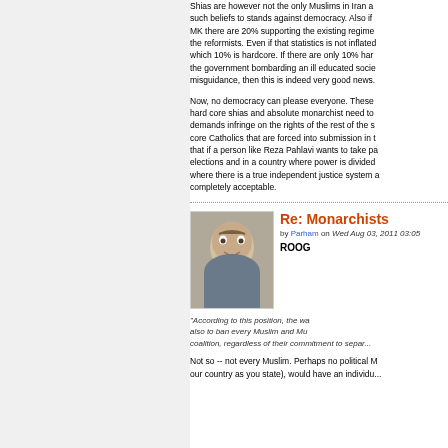Shias are however not the only Muslims in Iran a... such beliefs to stands against democracy. Also if ... MK there are 20% supporting the existing regime... the reformists. Even if that statistics is not inflated... which 10% is hardcore. If there are only 10% hard... the government bombarding an ill educated socie... misguidance, then this is indeed very good news.
Now, no democracy can please everyone. These... hard core shias and absolute monarchist need to... demands infringe on the rights of the rest of the s... core Catholics that are forced into submission in t... that if a person like Reza Pahlavi wants to take pa... elections and in a country where power is divided... where there is a true independent justice system a... completely acceptable.
Re: Monarchists
by Parham on Wed Aug 03, 2011 03:05
ROOG
"According to this position, the wa... also to ban every Muslim and Mu... coalition, regardless of their commitment to separ...
Not so -- not every Muslim. Perhaps no political M... our country as you state), would have an individu...